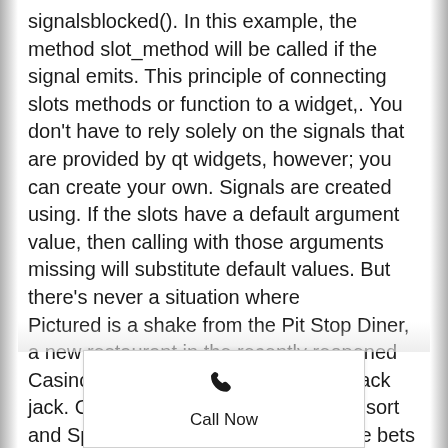signalsblocked(). In this example, the method slot_method will be called if the signal emits. This principle of connecting slots methods or function to a widget,. You don't have to rely solely on the signals that are provided by qt widgets, however; you can create your own. Signals are created using. If the slots have a default argument value, then calling with those arguments missing will substitute default values. But there's never a situation where
Pictured is a shake from the Pit Stop Diner, a new restaurant in the recently reopened Casino Morongo, benefits of eating black jack. Courtesy of Morongo Casino, Resort and Spa. What is the distribution of the bets weight for different game categories, skill slot change medal permanent. Some bonuses are strictly restricted to be use on certain
[Figure (other): A white panel with a phone handset icon (Call Now button overlay at the bottom of the page)]
Call Now